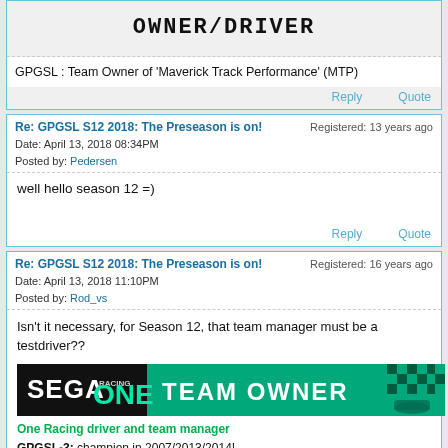[Figure (screenshot): OWNER/DRIVER banner image in pixelated font on gray background]
GPGSL : Team Owner of 'Maverick Track Performance' (MTP)
Reply   Quote
Re: GPGSL S12 2018: The Preseason is on!
Registered: 13 years ago
Date: April 13, 2018 08:34PM
Posted by: Pedersen
well hello season 12 =)
Reply   Quote
Re: GPGSL S12 2018: The Preseason is on!
Registered: 16 years ago
Date: April 13, 2018 11:10PM
Posted by: Rod_vs
Isn't it necessary, for Season 12, that team manager must be a testdriver??
[Figure (illustration): SEGA One Racing TEAM OWNER banner image with teal/black background]
One Racing driver and team manager
GPGSL-3: champion in 2007/2013/2014!
GPGSL-4: testdrivers champion in Season 11!
Reply   Quote